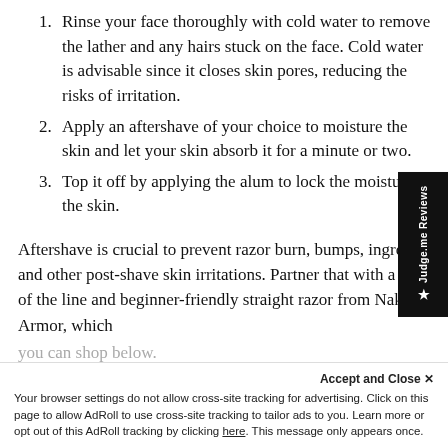1. Rinse your face thoroughly with cold water to remove the lather and any hairs stuck on the face. Cold water is advisable since it closes skin pores, reducing the risks of irritation.
2. Apply an aftershave of your choice to moisture the skin and let your skin absorb it for a minute or two.
3. Top it off by applying the alum to lock the moisture in the skin.
Aftershave is crucial to prevent razor burn, bumps, ingrown, and other post-shave skin irritations. Partner that with a top of the line and beginner-friendly straight razor from Naked Armor, which
you can shop below.
Accept and Close ×
Your browser settings do not allow cross-site tracking for advertising. Click on this page to allow AdRoll to use cross-site tracking to tailor ads to you. Learn more or opt out of this AdRoll tracking by clicking here. This message only appears once.